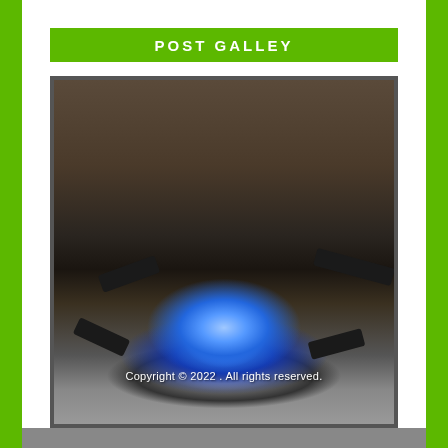POST GALLEY
[Figure (photo): Close-up photograph of a gas stove burner with blue flames burning, metallic burner ring visible, dark background. Text overlay reads 'Copyright © 2022 . All rights reserved.']
Copyright © 2022 . All rights reserved.